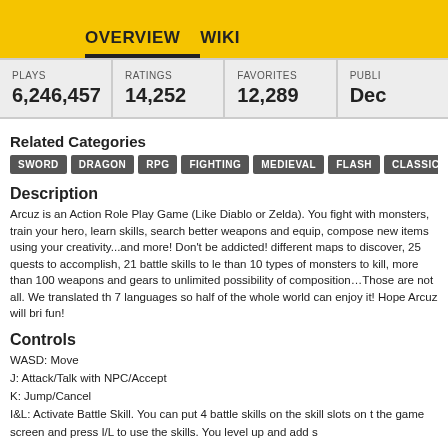OVERVIEW   WIKI
| PLAYS | RATINGS | FAVORITES | PUBLI... |
| --- | --- | --- | --- |
| 6,246,457 | 14,252 | 12,289 | Dec ... |
Related Categories
SWORD
DRAGON
RPG
FIGHTING
MEDIEVAL
FLASH
CLASSIC
MAGIC
Description
Arcuz is an Action Role Play Game (Like Diablo or Zelda). You fight with monsters, train your hero, learn skills, search better weapons and equip, compose new items using your creativity...and more! Don't be addicted! different maps to discover, 25 quests to accomplish, 21 battle skills to learn, than 10 types of monsters to kill, more than 100 weapons and gears to find, unlimited possibility of composition…Those are not all. We translated th 7 languages so half of the whole world can enjoy it! Hope Arcuz will bring fun!
Controls
WASD: Move
J: Attack/Talk with NPC/Accept
K: Jump/Cancel
I&L: Activate Battle Skill. You can put 4 battle skills on the skill slots on the game screen and press I/L to use the skills. You level up and add s...